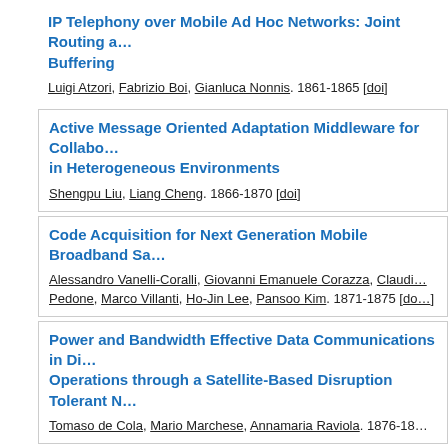IP Telephony over Mobile Ad Hoc Networks: Joint Routing and Buffering
Luigi Atzori, Fabrizio Boi, Gianluca Nonnis. 1861-1865 [doi]
Active Message Oriented Adaptation Middleware for Collaborative Applications in Heterogeneous Environments
Shengpu Liu, Liang Cheng. 1866-1870 [doi]
Code Acquisition for Next Generation Mobile Broadband Satellite Systems
Alessandro Vanelli-Coralli, Giovanni Emanuele Corazza, Claudio Pedone, Marco Villanti, Ho-Jin Lee, Pansoo Kim. 1871-1875 [doi]
Power and Bandwidth Effective Data Communications in Disaster Operations through a Satellite-Based Disruption Tolerant Network
Tomaso de Cola, Mario Marchese, Annamaria Raviola. 1876-18...
Proactive vs. Reactive DVB-RCS Terminal Using ACM Techniques
Simone Bracciali, Romano Fantacci, Tommaso Pecorella, Luigi...